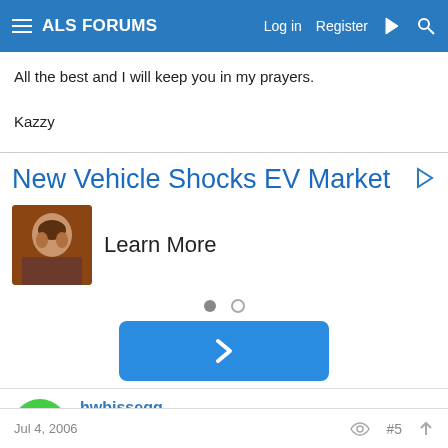ALS FORUMS  Log in  Register
All the best and I will keep you in my prayers.

Kazzy
[Figure (infographic): Advertisement banner: 'New Vehicle Shocks EV Market' with a person's photo thumbnail and 'Learn More' text, carousel dots, and a blue next arrow button]
hwbissegg
Member
Jul 4, 2006  #5